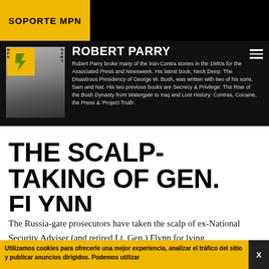SOPORTE MPN
[Figure (photo): MPN News logo with yellow and green design, person in background]
ROBERT PARRY
Robert Parry broke many of the Iran-Contra stories in the 1980s for the Associated Press and Newsweek. His latest book, Neck Deep: The Disastrous Presidency of George W. Bush, was written with two of his sons, Sam and Nat. His two previous books are Secrecy & Privilege: The Rise of the Bush Dynasty from Watergate to Iraq and Lost History: Contras, Cocaine, the Press & 'Project Truth'.
THE SCALP-TAKING OF GEN. FLYNN
The Russia-gate prosecutors have taken the scalp of ex-National Security Adviser (and retired Lt. Gen.) Flynn for lying
Utilizamos cookies para ofrecerle una mejor experiencia, analizar el tráfico del sitio y publicar anuncios dirigidos. Podemos utilizar